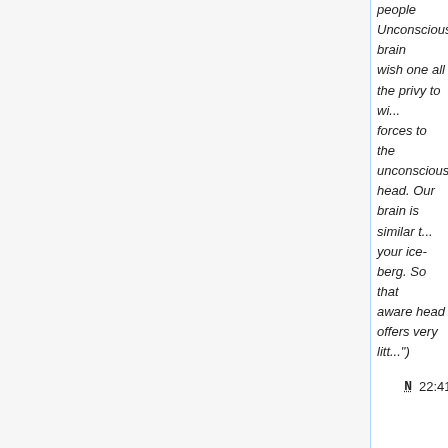people Unconscious brain wish one all the privy to wi... forces to the unconscious head. Our brain is similar t... your ice-berg. So that aware head offers very litt...")
N 22:41 ClearDAO derivatives (diff | hist) . . (+5,343) . . WhereTogetqualitybacklinks (talk | contribs) (Created page with "Often, it's not an easy task to login to a smartphone. One social login can be a straightforward remedy for smartphone users.Social Login SetupSocial login commonly relies on...")
N 22:41 ClearDAO SDK (diff | hist)